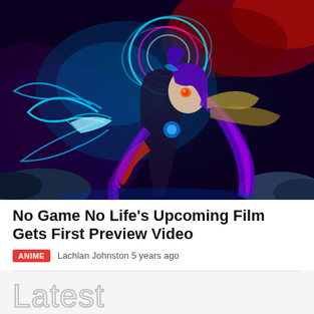[Figure (illustration): Anime artwork from No Game No Life featuring a female character with purple hair, red/orange eyes, cyberpunk mechanical wings and weapons, against a vivid background of blue, purple, and red cosmic scenery.]
No Game No Life's Upcoming Film Gets First Preview Video
ANIME   Lachlan Johnston 5 years ago
Latest